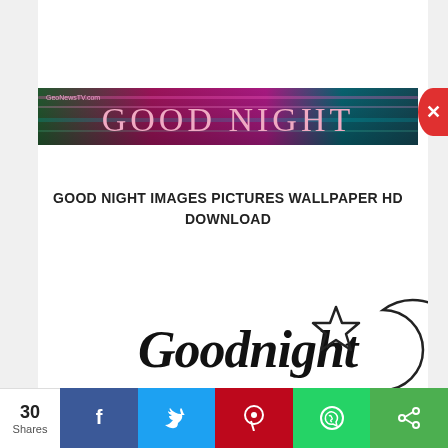[Figure (photo): Good Night banner with colorful background (pink/teal/green abstract streaks) showing 'GOOD NIGHT' text in large pink serif letters, with GeoNewsTV.com watermark]
GOOD NIGHT IMAGES PICTURES WALLPAPER HD DOWNLOAD
[Figure (illustration): Goodnight text illustration in bold script with a star and crescent moon outline, GeoNewsTV.com watermark below]
30 Shares